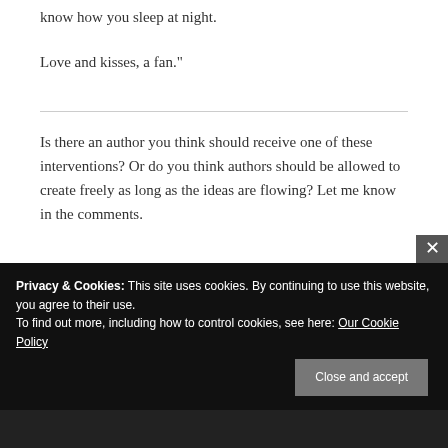know how you sleep at night.
Love and kisses, a fan."
Is there an author you think should receive one of these interventions? Or do you think authors should be allowed to create freely as long as the ideas are flowing? Let me know in the comments.
Privacy & Cookies: This site uses cookies. By continuing to use this website, you agree to their use.
To find out more, including how to control cookies, see here: Our Cookie Policy
Close and accept